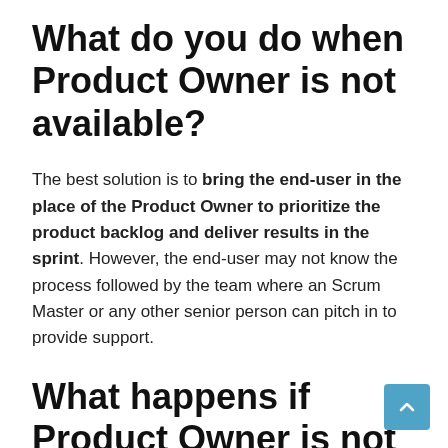What do you do when Product Owner is not available?
The best solution is to bring the end-user in the place of the Product Owner to prioritize the product backlog and deliver results in the sprint. However, the end-user may not know the process followed by the team where an Scrum Master or any other senior person can pitch in to provide support.
What happens if Product Owner is not